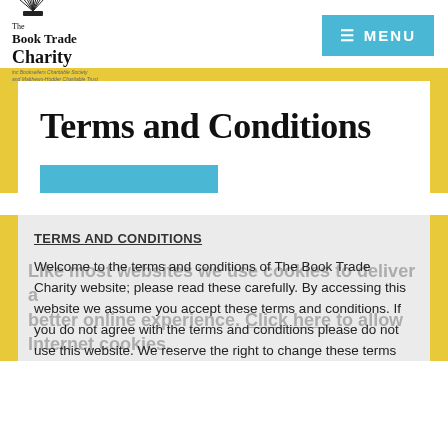The Book Trade Charity — MENU
Terms and Conditions
TERMS AND CONDITIONS
Welcome to the terms and conditions of The Book Trade Charity website; please read these carefully. By accessing this website we assume you accept these terms and conditions. If you do not agree with the terms and conditions please do not use this website. We reserve the right to change these terms